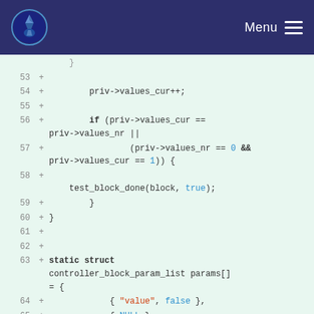Menu
[Figure (screenshot): Code diff view showing lines 53-67 of a C source file with line numbers, diff markers (+), and syntax-highlighted code on a light green background]
53 +
54 +         priv->values_cur++;
55 +
56 +         if (priv->values_cur ==
priv->values_nr ||
57 +                 (priv->values_nr == 0 &&
priv->values_cur == 1)) {
58 +
    test_block_done(block, true);
59 +         }
60 + }
61 +
62 +
63 + static struct controller_block_param_list params[] = {
64 +             { "value", false },
65 +             { NULL },
66 + };
67 +